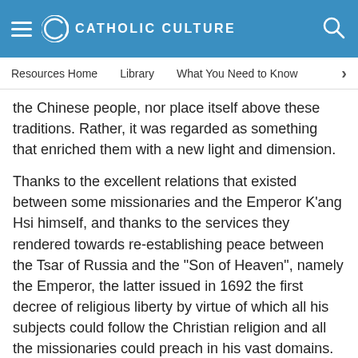CATHOLIC CULTURE
Resources Home   Library   What You Need to Know
the Chinese people, nor place itself above these traditions. Rather, it was regarded as something that enriched them with a new light and dimension.
Thanks to the excellent relations that existed between some missionaries and the Emperor K'ang Hsi himself, and thanks to the services they rendered towards re-establishing peace between the Tsar of Russia and the "Son of Heaven", namely the Emperor, the latter issued in 1692 the first decree of religious liberty by virtue of which all his subjects could follow the Christian religion and all the missionaries could preach in his vast domains.
In consequence, there were notable developments in missionary activity and the spread of the Gospel